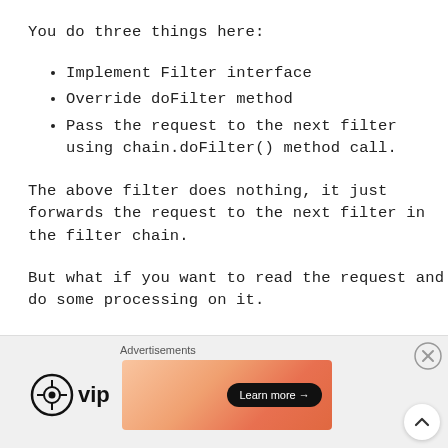You do three things here:
Implement Filter interface
Override doFilter method
Pass the request to the next filter using chain.doFilter() method call.
The above filter does nothing, it just forwards the request to the next filter in the filter chain.
But what if you want to read the request and do some processing on it.
You may try something like this:
[Figure (infographic): Advertisement banner with WordPress VIP logo and a gradient orange/pink banner with a 'Learn more' button. Includes a close (X) button and a scroll-up arrow button.]